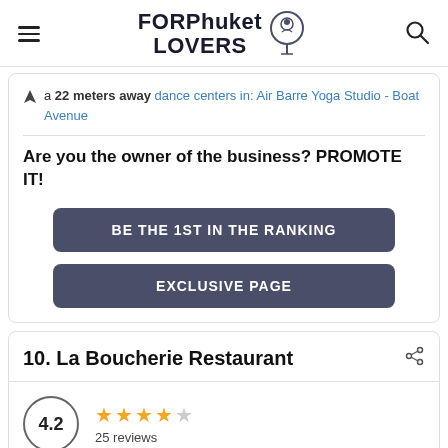FORPhuket LOVERS
a 22 meters away dance centers in: Air Barre Yoga Studio - Boat Avenue
Are you the owner of the business? PROMOTE IT!
BE THE 1ST IN THE RANKING
EXCLUSIVE PAGE
10. La Boucherie Restaurant
4.2
25 reviews